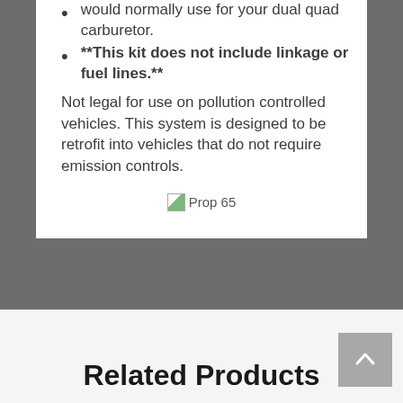would normally use for your dual quad carburetor.
**This kit does not include linkage or fuel lines.**
Not legal for use on pollution controlled vehicles. This system is designed to be retrofit into vehicles that do not require emission controls.
[Figure (other): Prop 65 warning icon/image placeholder]
Related Products